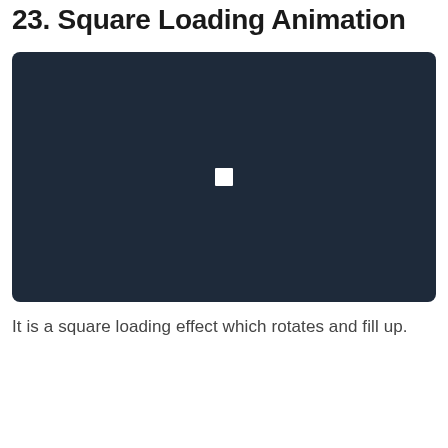23. Square Loading Animation
[Figure (screenshot): Dark navy blue rectangular preview area with a small white square centered in the middle, representing a square loading animation effect.]
It is a square loading effect which rotates and fill up.